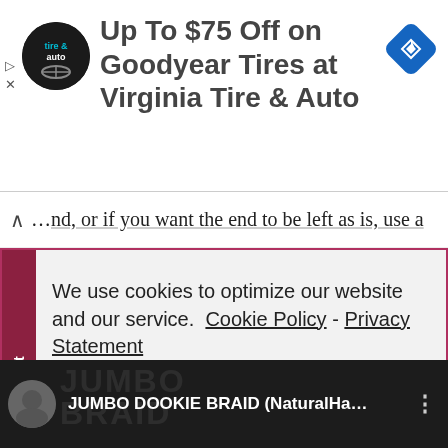[Figure (screenshot): Advertisement banner: Virginia Tire & Auto logo (circular black logo) with text 'Up To $75 Off on Goodyear Tires at Virginia Tire & Auto' and a blue navigation diamond icon on the right. Small play and X icons on the left edge.]
the end, or if you want the end to be left as is, use a
We use cookies to optimize our website and our service.  Cookie Policy  -  Privacy Statement
Accept
JUMBO DOOKIE BRAID (NaturalHa...